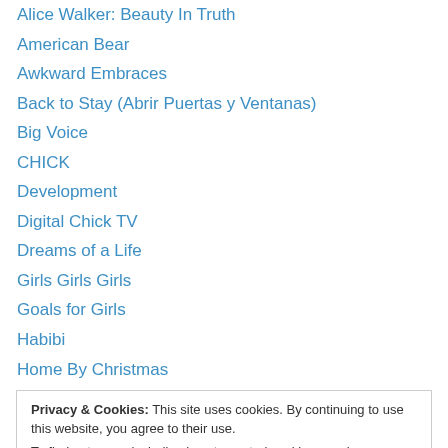Alice Walker: Beauty In Truth
American Bear
Awkward Embraces
Back to Stay (Abrir Puertas y Ventanas)
Big Voice
CHICK
Development
Digital Chick TV
Dreams of a Life
Girls Girls Girls
Goals for Girls
Habibi
Home By Christmas
Privacy & Cookies: This site uses cookies. By continuing to use this website, you agree to their use.
To find out more, including how to control cookies, see here: Cookie Policy
Mamachas Del Ring